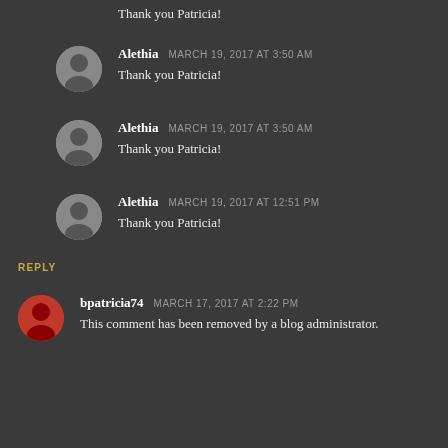Thank you Patricia!
Alethia March 19, 2017 at 3:50 AM
Thank you Patricia!
Alethia March 19, 2017 at 3:50 AM
Thank you Patricia!
Alethia March 19, 2017 at 12:51 PM
Thank you Patricia!
REPLY
bpatricia74 March 17, 2017 at 2:22 PM
This comment has been removed by a blog administrator.